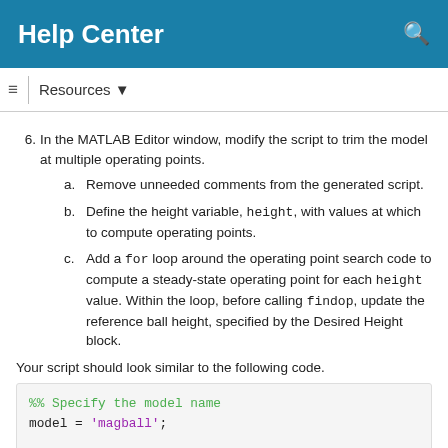Help Center
6. In the MATLAB Editor window, modify the script to trim the model at multiple operating points.
a. Remove unneeded comments from the generated script.
b. Define the height variable, height, with values at which to compute operating points.
c. Add a for loop around the operating point search code to compute a steady-state operating point for each height value. Within the loop, before calling findop, update the reference ball height, specified by the Desired Height block.
Your script should look similar to the following code.
%% Specify the model name
model = 'magball';

%% Create the operating point specification
opspec = operspec(model);